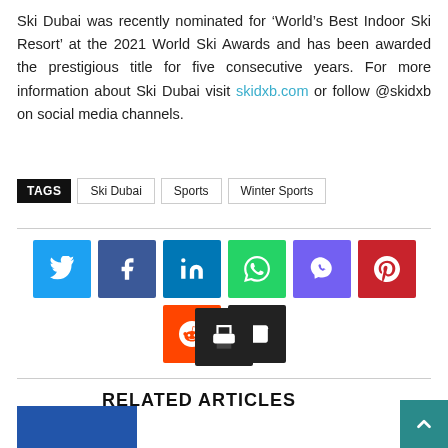Ski Dubai was recently nominated for ‘World’s Best Indoor Ski Resort’ at the 2021 World Ski Awards and has been awarded the prestigious title for five consecutive years. For more information about Ski Dubai visit skidxb.com or follow @skidxb on social media channels.
TAGS  Ski Dubai  Sports  Winter Sports
[Figure (infographic): Row of social media share icons: Twitter (light blue), Facebook (dark blue), LinkedIn (blue), WhatsApp (green), Viber (purple), Pinterest (red), Reddit (orange), Email (black), and a Print (black) icon on second row.]
RELATED ARTICLES